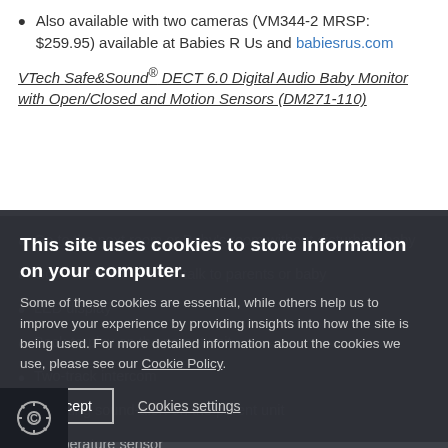Also available with two cameras (VM344-2 MRSP: $259.95) available at Babies R Us and babiesrus.com
VTech Safe&Sound® DECT 6.0 Digital Audio Baby Monitor with Open/Closed and Motion Sensors (DM271-110)
Go to the next room or Baby's room without disturbing baby
Go to the next room or talk to parents or baby
LED display
Back-to-play on the parent unit
Two-track intercom
Vibrating sound-alert on the parent unit
Temperature sensor
This site uses cookies to store information on your computer. Some of these cookies are essential, while others help us to improve your experience by providing insights into how the site is being used. For more detailed information about the cookies we use, please see our Cookie Policy.
I Accept
Cookies settings